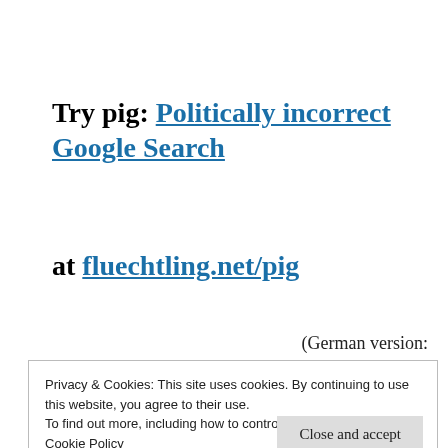Try pig: Politically incorrect Google Search at fluechtling.net/pig
(German version:
Privacy & Cookies: This site uses cookies. By continuing to use this website, you agree to their use.
To find out more, including how to control cookies, see here: Cookie Policy
Close and accept